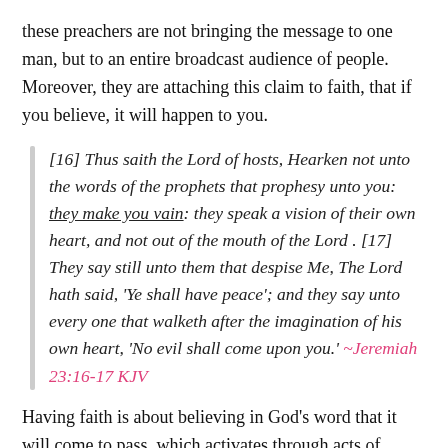these preachers are not bringing the message to one man, but to an entire broadcast audience of people. Moreover, they are attaching this claim to faith, that if you believe, it will happen to you.
[16] Thus saith the Lord of hosts, Hearken not unto the words of the prophets that prophesy unto you: they make you vain: they speak a vision of their own heart, and not out of the mouth of the Lord . [17] They say still unto them that despise Me, The Lord hath said, 'Ye shall have peace'; and they say unto every one that walketh after the imagination of his own heart, 'No evil shall come upon you.' ~Jeremiah 23:16-17 KJV
Having faith is about believing in God's word that it will come to pass, which activates through acts of godliness. However, to use "This is your year" as a means of hope